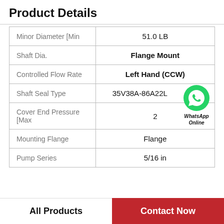Product Details
| Property | Value |
| --- | --- |
| Minor Diameter [Min | 51.0 LB |
| Shaft Dia. | Flange Mount |
| Controlled Flow Rate | Left Hand (CCW) |
| Shaft Seal Type | 35V38A-86A22L |
| Cover End Pressure [Max | 2 |
| Mounting Flange | Flange |
| Pump Series | 5/16 in |
[Figure (logo): WhatsApp green phone icon with text 'WhatsApp Online']
All Products    Contact Now